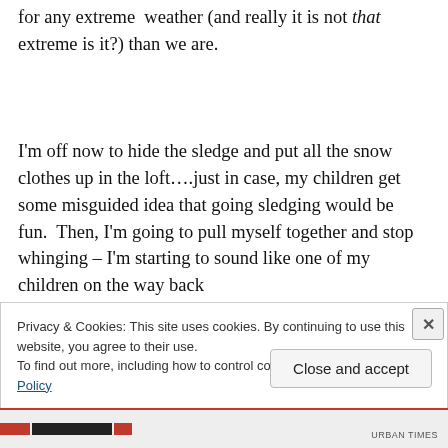for any extreme weather (and really it is not that extreme is it?) than we are.
I'm off now to hide the sledge and put all the snow clothes up in the loft….just in case, my children get some misguided idea that going sledging would be fun. Then, I'm going to pull myself together and stop whinging – I'm starting to sound like one of my children on the way back
Privacy & Cookies: This site uses cookies. By continuing to use this website, you agree to their use.
To find out more, including how to control cookies, see here: Cookie Policy
Close and accept